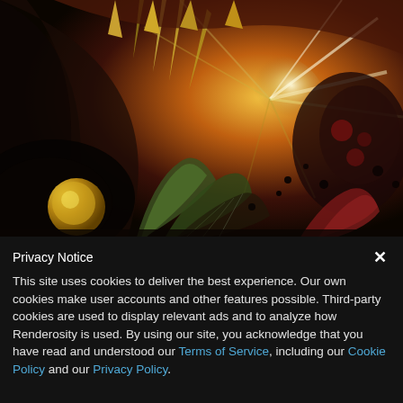[Figure (illustration): A colorful fractal digital art image featuring swirling forms resembling exotic flowers or creatures with spiky protrusions in dark reds, oranges, greens, and blacks with bright yellow-white light emanating from center-right area.]
Privacy Notice
This site uses cookies to deliver the best experience. Our own cookies make user accounts and other features possible. Third-party cookies are used to display relevant ads and to analyze how Renderosity is used. By using our site, you acknowledge that you have read and understood our Terms of Service, including our Cookie Policy and our Privacy Policy.